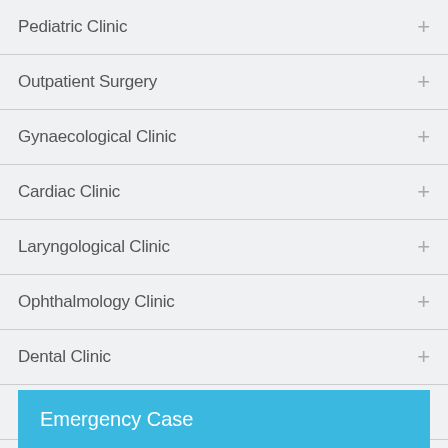Pediatric Clinic
Outpatient Surgery
Gynaecological Clinic
Cardiac Clinic
Laryngological Clinic
Ophthalmology Clinic
Dental Clinic
Outpatient Rehabilitation
Emergency Case